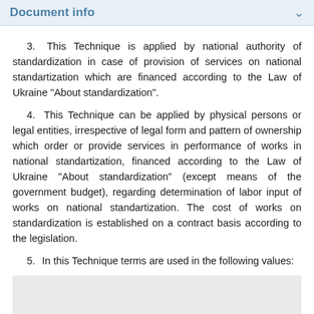Document info
3. This Technique is applied by national authority of standardization in case of provision of services on national standartization which are financed according to the Law of Ukraine "About standardization".
4. This Technique can be applied by physical persons or legal entities, irrespective of legal form and pattern of ownership which order or provide services in performance of works in national standartization, financed according to the Law of Ukraine "About standardization" (except means of the government budget), regarding determination of labor input of works on national standartization. The cost of works on standardization is established on a contract basis according to the legislation.
5. In this Technique terms are used in the following values:
[Figure (other): Gray box area at bottom of page]